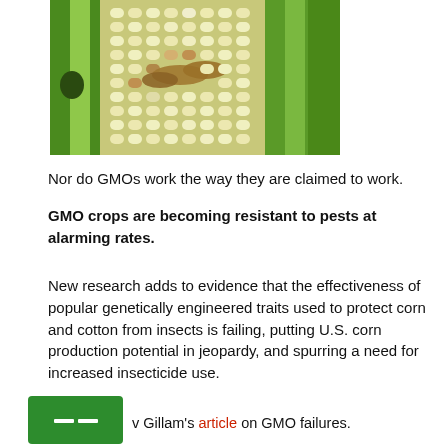[Figure (photo): Close-up photo of an ear of corn partially husked, showing white corn kernels and insect larvae (caterpillars/worms) feeding on the cob, with green husks visible.]
Nor do GMOs work the way they are claimed to work.
GMO crops are becoming resistant to pests at alarming rates.
New research adds to evidence that the effectiveness of popular genetically engineered traits used to protect corn and cotton from insects is failing, putting U.S. corn production potential in jeopardy, and spurring a need for increased insecticide use.
Read Carey Gillam's article on GMO failures.